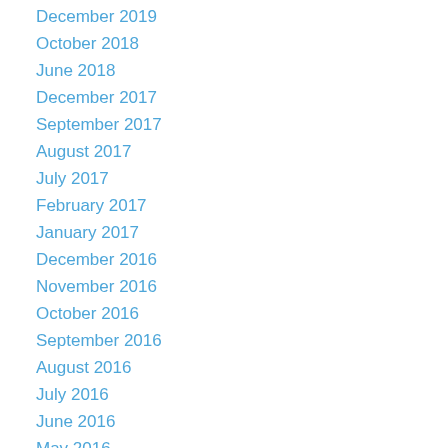December 2019
October 2018
June 2018
December 2017
September 2017
August 2017
July 2017
February 2017
January 2017
December 2016
November 2016
October 2016
September 2016
August 2016
July 2016
June 2016
May 2016
April 2016
March 2016
February 2016